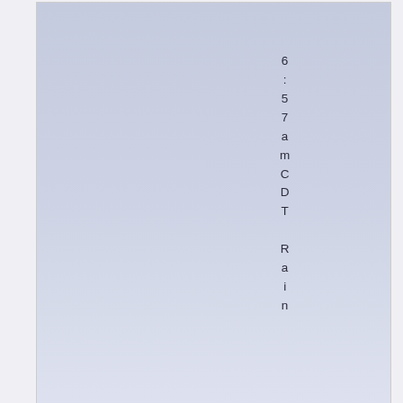[Figure (screenshot): Light blue-lavender gradient panel showing vertical text reading '6:57amCDT Rain' with characters stacked vertically. A download icon is in the bottom-right corner of the panel.]
Popular Topics
All Posts
Heppede Mener
Natural He...am
By continuing to use the site, you agree to the use of cookies.
more information
Accept
Journal Notes